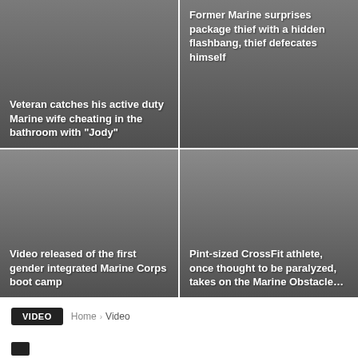[Figure (screenshot): News article card with dark gradient background: 'Veteran catches his active duty Marine wife cheating in the bathroom with "Jody"']
[Figure (screenshot): News article card with dark gradient background: 'Former Marine surprises package thief with a hidden flashbang, thief defecates himself']
[Figure (screenshot): News article card with dark gradient background: 'Video released of the first gender integrated Marine Corps boot camp']
[Figure (screenshot): News article card with dark gradient background: 'Pint-sized CrossFit athlete, once thought to be paralyzed, takes on the Marine Obstacle...']
VIDEO
Home › Video